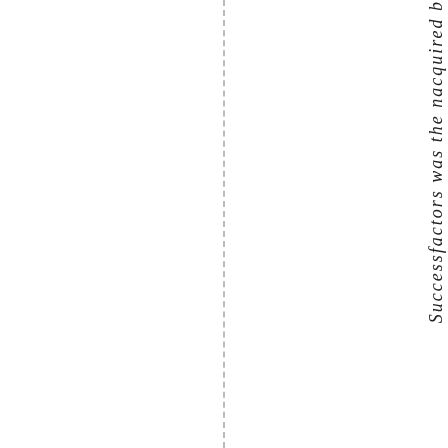Successfactors was the nacquired b